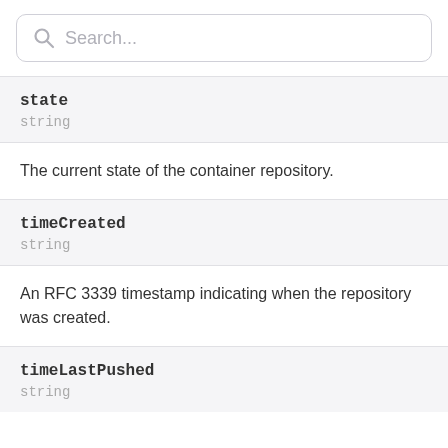Search...
state
string
The current state of the container repository.
timeCreated
string
An RFC 3339 timestamp indicating when the repository was created.
timeLastPushed
string